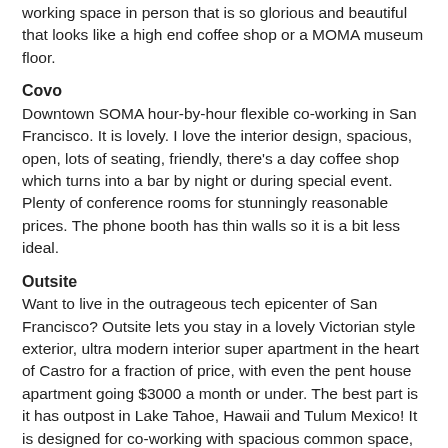working space in person that is so glorious and beautiful that looks like a high end coffee shop or a MOMA museum floor.
Covo
Downtown SOMA hour-by-hour flexible co-working in San Francisco. It is lovely. I love the interior design, spacious, open, lots of seating, friendly, there's a day coffee shop which turns into a bar by night or during special event. Plenty of conference rooms for stunningly reasonable prices. The phone booth has thin walls so it is a bit less ideal.
Outsite
Want to live in the outrageous tech epicenter of San Francisco? Outsite lets you stay in a lovely Victorian style exterior, ultra modern interior super apartment in the heart of Castro for a fraction of price, with even the pent house apartment going $3000 a month or under. The best part is it has outpost in Lake Tahoe, Hawaii and Tulum Mexico! It is designed for co-working with spacious common space, kitchen and lots of caffeine. Some houses feature extraordinary patio or backyard and even surf board storage. Some locations require minimum number of nights.